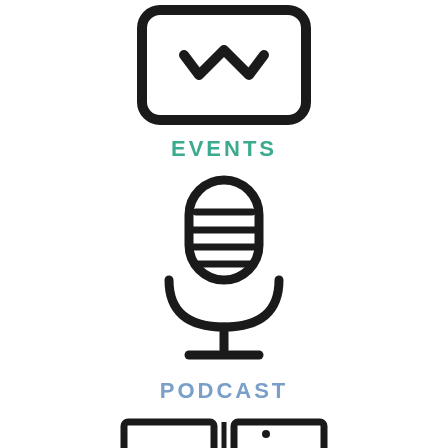[Figure (illustration): Icon of a ticket/badge with crown shape (top of icon, partially visible at top of page)]
EVENTS
[Figure (illustration): Microphone icon with horizontal grille lines, stand and base]
PODCAST
[Figure (illustration): Open book icon with text lines on both pages (partially visible at bottom of page)]